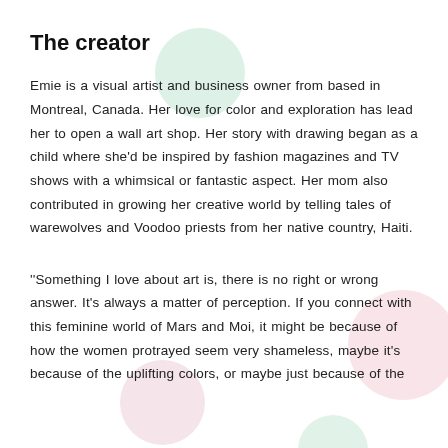The creator
Emie is a visual artist and business owner from based in Montreal, Canada. Her love for color and exploration has lead her to open a wall art shop. Her story with drawing began as a child where she'd be inspired by fashion magazines and TV shows with a whimsical or fantastic aspect. Her mom also contributed in growing her creative world by telling tales of warewolves and Voodoo priests from her native country, Haiti.
''Something I love about art is, there is no right or wrong answer. It's always a matter of perception. If you connect with this feminine world of Mars and Moi, it might be because of how the women protrayed seem very shameless, maybe it's because of the uplifting colors, or maybe just because of the